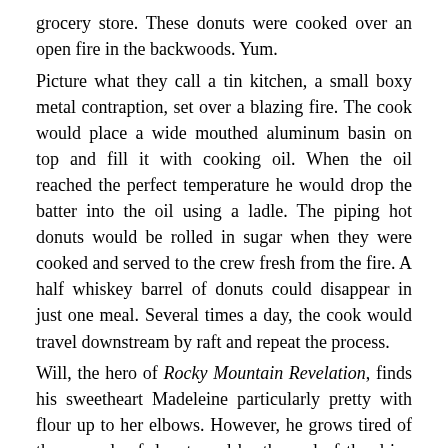grocery store. These donuts were cooked over an open fire in the backwoods. Yum.
Picture what they call a tin kitchen, a small boxy metal contraption, set over a blazing fire. The cook would place a wide mouthed aluminum basin on top and fill it with cooking oil. When the oil reached the perfect temperature he would drop the batter into the oil using a ladle. The piping hot donuts would be rolled in sugar when they were cooked and served to the crew fresh from the fire. A half whiskey barrel of donuts could disappear in just one meal. Several times a day, the cook would travel downstream by raft and repeat the process.
Will, the hero of Rocky Mountain Revelation, finds his sweetheart Madeleine particularly pretty with flour up to her elbows. However, he grows tired of the mounds of donuts and by the end of the drive attempts to trade them for the cook's fluffy biscuits.